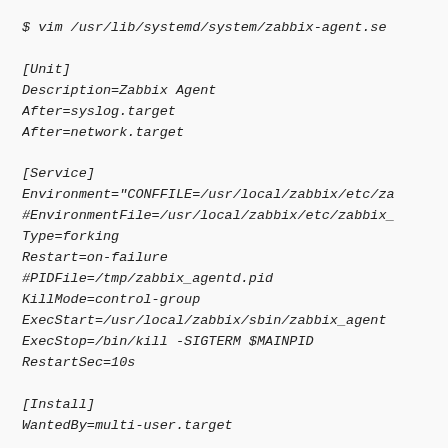$ vim /usr/lib/systemd/system/zabbix-agent.se...

[Unit]
Description=Zabbix Agent
After=syslog.target
After=network.target

[Service]
Environment="CONFFILE=/usr/local/zabbix/etc/za...
#EnvironmentFile=/usr/local/zabbix/etc/zabbix_...
Type=forking
Restart=on-failure
#PIDFile=/tmp/zabbix_agentd.pid
KillMode=control-group
ExecStart=/usr/local/zabbix/sbin/zabbix_agent...
ExecStop=/bin/kill -SIGTERM $MAINPID
RestartSec=10s

[Install]
WantedBy=multi-user.target